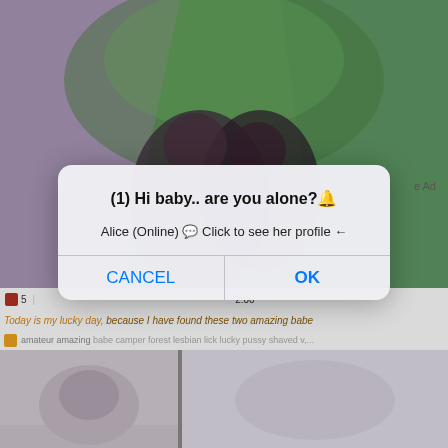[Figure (screenshot): Background showing a video website page with adult content blurred. Top section shows two people in a tent in an outdoor setting. Bottom section shows two video thumbnails side by side. A browser/OS dialog box overlay reads: (1) Hi baby.. are you alone?  Alice (Online) → Click to see her profile ← with CANCEL and OK buttons. Text below the main video reads 'Today is my lucky day, because I have found these two amazing babe' with tags: amateur amazing babe camper forest lesbian lick lucky pussy shaved v,...]
5  [video title blurred]  2:00
Today is my lucky day, because I have found these two amazing babe
amateur amazing babe camper forest lesbian lick lucky pussy shaved v,...
(1) Hi baby.. are you alone?🔔
Alice (Online) 💬 Click to see her profile ←
CANCEL
OK
e Ad